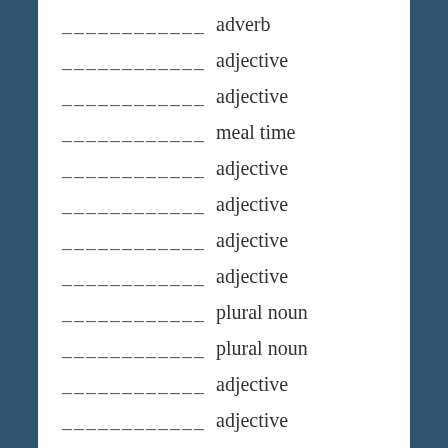____________ adverb
____________ adjective
____________ adjective
____________ meal time
____________ adjective
____________ adjective
____________ adjective
____________ adjective
____________ plural noun
____________ plural noun
____________ adjective
____________ adjective